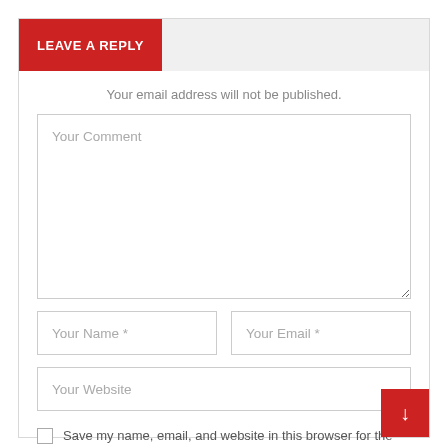LEAVE A REPLY
Your email address will not be published.
Your Comment
Your Name *
Your Email *
Your Website
Save my name, email, and website in this browser for the next time I comment.